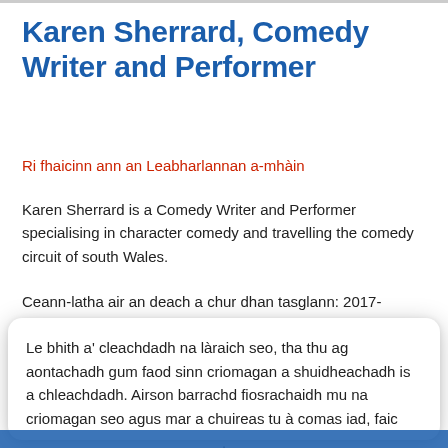Karen Sherrard, Comedy Writer and Performer
Ri fhaicinn ann an Leabharlannan a-mhàin
Karen Sherrard is a Comedy Writer and Performer specialising in character comedy and travelling the comedy circuit of south Wales.
Ceann-latha air an deach a chur dhan tasglann: 2017-
Le bhith a' cleachdadh na làraich seo, tha thu ag aontachadh gum faod sinn criomagan a shuidheachadh is a chleachdadh. Airson barrachd fiosrachaidh mu na criomagan seo agus mar a chuireas tu à comas iad, faic
.
Ceart ma-tha